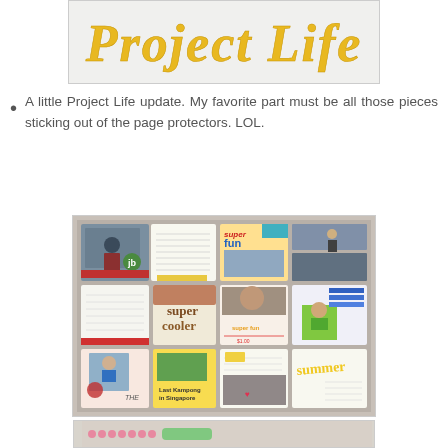[Figure (logo): Project Life logo in yellow/gold decorative script font]
A little Project Life update. My favorite part must be all those pieces sticking out of the page protectors. LOL.
[Figure (photo): A scrapbook spread displayed in page protectors showing a 4x3 grid of various cards, photos, and journaling cards with colorful elements including 'super fun', 'super cooler', 'Last Kampong in Singapore' text cards and photos]
[Figure (photo): Partial view of another scrapbook page visible at the bottom, showing colorful pink dots and green decorative elements]